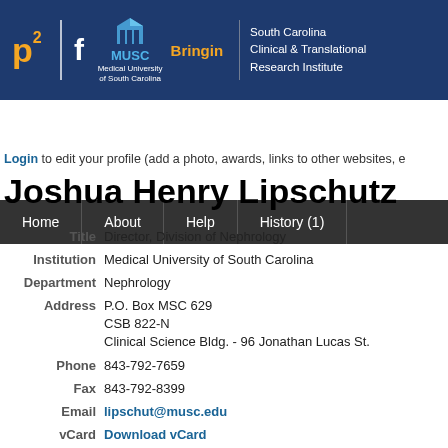[Figure (logo): P2 Bringin MUSC Medical University of South Carolina South Carolina Clinical & Translational Research Institute header banner on dark blue background]
Home | About | Help | History (1)
Login to edit your profile (add a photo, awards, links to other websites, e...
Joshua Henry Lipschutz
| Title | Director, Division of Nephrology |
| Institution | Medical University of South Carolina |
| Department | Nephrology |
| Address | P.O. Box MSC 629
CSB 822-N
Clinical Science Bldg. - 96 Jonathan Lucas St. |
| Phone | 843-792-7659 |
| Fax | 843-792-8399 |
| Email | lipschut@musc.edu |
| vCard | Download vCard |